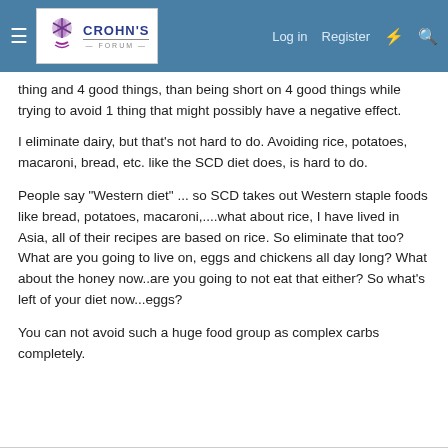Crohn's Forum — Log in | Register
thing and 4 good things, than being short on 4 good things while trying to avoid 1 thing that might possibly have a negative effect.
I eliminate dairy, but that's not hard to do. Avoiding rice, potatoes, macaroni, bread, etc. like the SCD diet does, is hard to do.
People say "Western diet" ... so SCD takes out Western staple foods like bread, potatoes, macaroni,....what about rice, I have lived in Asia, all of their recipes are based on rice. So eliminate that too? What are you going to live on, eggs and chickens all day long? What about the honey now..are you going to not eat that either? So what's left of your diet now...eggs?
You can not avoid such a huge food group as complex carbs completely.